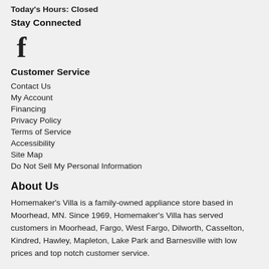Today's Hours: Closed
Stay Connected
[Figure (logo): Facebook icon (f logo)]
Customer Service
Contact Us
My Account
Financing
Privacy Policy
Terms of Service
Accessibility
Site Map
Do Not Sell My Personal Information
About Us
Homemaker's Villa is a family-owned appliance store based in Moorhead, MN. Since 1969, Homemaker's Villa has served customers in Moorhead, Fargo, West Fargo, Dilworth, Casselton, Kindred, Hawley, Mapleton, Lake Park and Barnesville with low prices and top notch customer service.